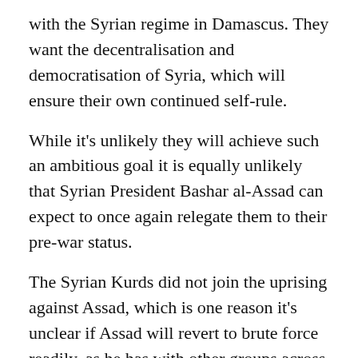with the Syrian regime in Damascus. They want the decentralisation and democratisation of Syria, which will ensure their own continued self-rule.
While it's unlikely they will achieve such an ambitious goal it is equally unlikely that Syrian President Bashar al-Assad can expect to once again relegate them to their pre-war status.
The Syrian Kurds did not join the uprising against Assad, which is one reason it's unclear if Assad will revert to brute force readily, as he has with other groups across the country. The Kurds briefly did mount an uprising against the regime in March 2004, after a football match in Qamishli degenerated into violence, and Assad sent in tanks and helicopters to suppress them.
The Syrian Kurds were long disenfranchised and